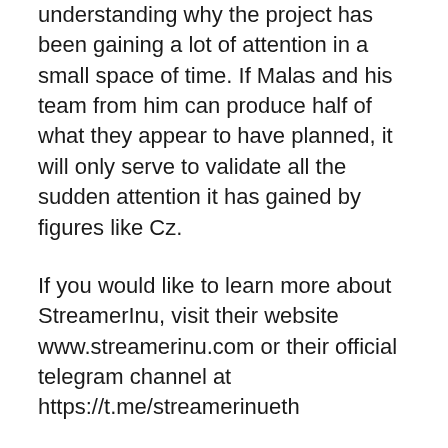understanding why the project has been gaining a lot of attention in a small space of time. If Malas and his team from him can produce half of what they appear to have planned, it will only serve to validate all the sudden attention it has gained by figures like Cz.
If you would like to learn more about StreamerInu, visit their website www.streamerinu.com or their official telegram channel at https://t.me/streamerinueth
One of StreamerInu's central aims is to solve the problem with traditional earning models, which typically sees the actual content creator receive only a fraction of the total